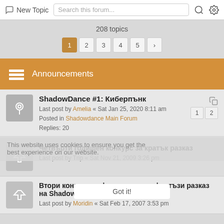New Topic  Search this forum...
208 topics
Pagination: 1 2 3 4 5 ›
Announcements
ShadowDance #1: Киберпънк — Last post by Amelia « Sat Jan 25, 2020 8:11 am — Posted in Shadowdance Main Forum — Replies: 20
Четвърти годишен конкурс за кратък разказ — Last post by Trip « Sat Nov 21, 2009 3:26 pm
Втори конкурс за фантастичен и фентъзи разказ на Shadowdance — Last post by Moridin « Sat Feb 17, 2007 3:53 pm